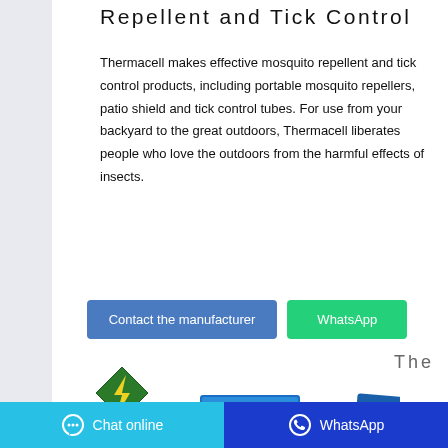Repellent and Tick Control
Thermacell makes effective mosquito repellent and tick control products, including portable mosquito repellers, patio shield and tick control tubes. For use from your backyard to the great outdoors, Thermacell liberates people who love the outdoors from the harmful effects of insects.
[Figure (screenshot): Two buttons: 'Contact the manufacturer' (steel blue) and 'WhatsApp' (green)]
The
[Figure (logo): Arrow brand logo - green diamond shape with lightning bolt and ARROW text]
[Figure (photo): Arrow Mosquito Repellent Liquid product packaging boxes]
Chat online   WhatsApp